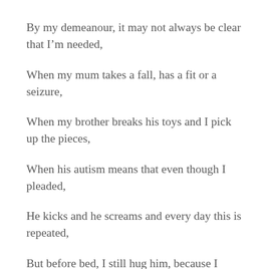By my demeanour, it may not always be clear that I’m needed,
When my mum takes a fall, has a fit or a seizure,
When my brother breaks his toys and I pick up the pieces,
When his autism means that even though I pleaded,
He kicks and he screams and every day this is repeated,
But before bed, I still hug him, because I